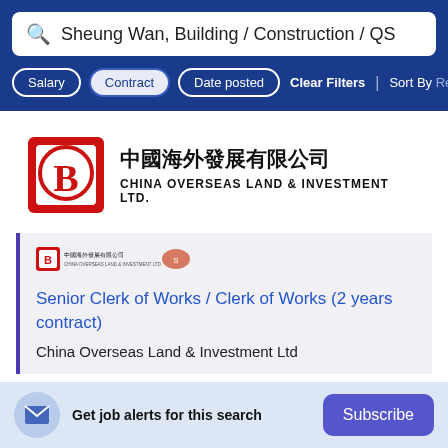Sheung Wan, Building / Construction / QS
Salary | Contract | Date posted | Clear Filters | Sort By Relev
[Figure (logo): China Overseas Land & Investment Ltd logo with Chinese characters and red emblem]
[Figure (logo): Small China Overseas Land & Investment Ltd logo]
Senior Clerk of Works / Clerk of Works (2 years contract)
China Overseas Land & Investment Ltd
Get job alerts for this search
Subscribe